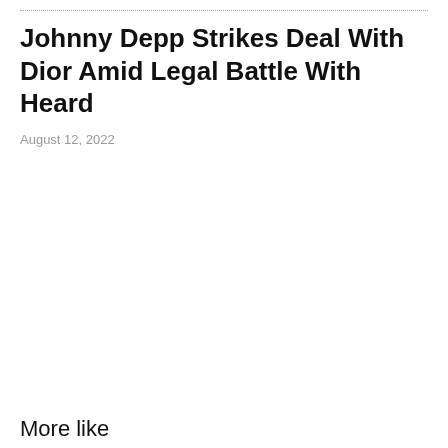Johnny Depp Strikes Deal With Dior Amid Legal Battle With Heard
August 12, 2022
More like